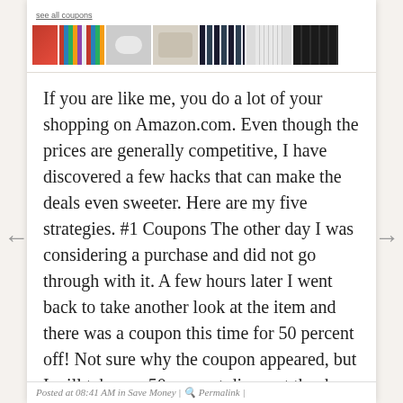see all coupons
[Figure (photo): A horizontal row of product thumbnail images showing various home goods including striped items, a white object, a pillow, a striped item, curtains, and a black item.]
If you are like me, you do a lot of your shopping on Amazon.com. Even though the prices are generally competitive, I have discovered a few hacks that can make the deals even sweeter. Here are my five strategies. #1 Coupons The other day I was considering a purchase and did not go through with it. A few hours later I went back to take another look at the item and there was a coupon this time for 50 percent off! Not sure why the coupon appeared, but I will take my 50 percent discount thank you very much. I... Read more →
Posted at 08:41 AM in Save Money | Permalink |